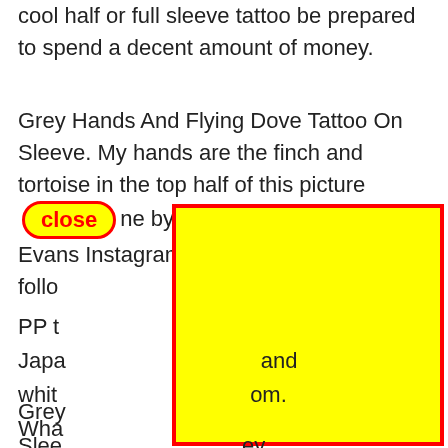cool half or full sleeve tattoo be prepared to spend a decent amount of money.
Grey Hands And Flying Dove Tattoo On Sleeve. My hands are the finch and tortoise in the top half of this picture [close] ne by the amazing Nathan Evans Instagram. Mar 12 2021 – Ex follo
[Figure (other): Yellow rectangle with red border overlaying text content, acting as a UI overlay/modal blocker]
PP t Japa and whit om. Wha
Grey Slee ey